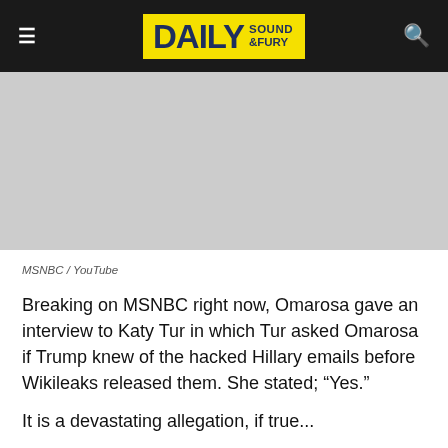DAILY SOUND & FURY
[Figure (photo): Gray placeholder image area for a video or photo from MSNBC / YouTube]
MSNBC / YouTube
Breaking on MSNBC right now, Omarosa gave an interview to Katy Tur in which Tur asked Omarosa if Trump knew of the hacked Hillary emails before Wikileaks released them. She stated; “Yes.”
It is a devastating allegation, if true...